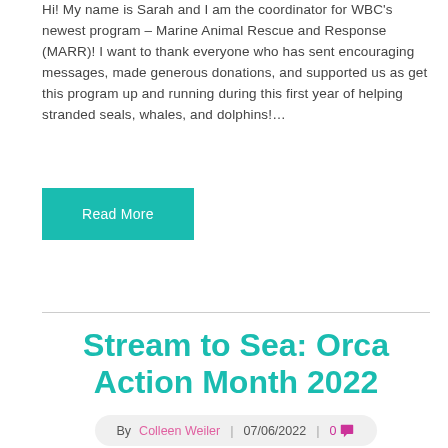Hi! My name is Sarah and I am the coordinator for WBC's newest program – Marine Animal Rescue and Response (MARR)! I want to thank everyone who has sent encouraging messages, made generous donations, and supported us as get this program up and running during this first year of helping stranded seals, whales, and dolphins!…
Read More
Stream to Sea: Orca Action Month 2022
By Colleen Weiler | 07/06/2022 | 0